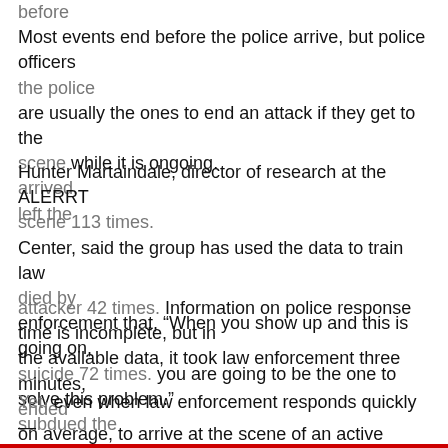before
Most events end before the police arrive, but police officers are usually the ones to end an attack if they get to the scene while it is ongoing.
the police
arrived.
left the
Hunter Martaindale, director of research at the ALERRT Center, said the group has used the data to train law enforcement that, “When you show up and this is going on, you are going to be the one to solve this problem.”
scene 113 times.
died by
suicide 72 times.
subdued the
Information on police response time is incomplete, but in the available data, it took law enforcement three minutes, on average, to arrive at the scene of an active shooting.
attacker 42 times.
ended
after the
Yet, even when law enforcement responds quickly — sometimes within seconds — or if officers are already on
police